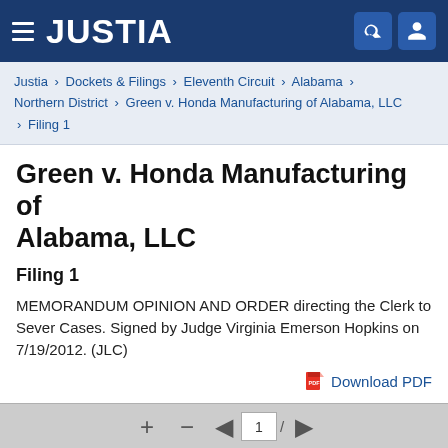JUSTIA
Justia › Dockets & Filings › Eleventh Circuit › Alabama › Northern District › Green v. Honda Manufacturing of Alabama, LLC › Filing 1
Green v. Honda Manufacturing of Alabama, LLC
Filing 1
MEMORANDUM OPINION AND ORDER directing the Clerk to Sever Cases. Signed by Judge Virginia Emerson Hopkins on 7/19/2012. (JLC)
Download PDF